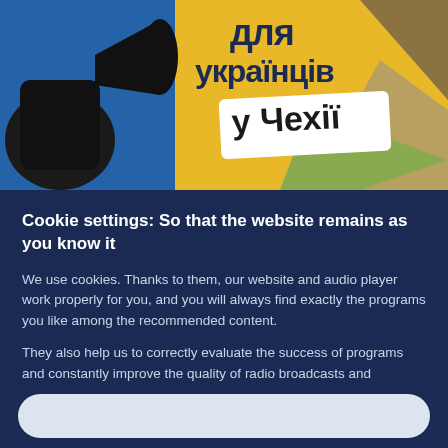[Figure (illustration): Colorful illustration with Ukrainian text 'для українців у Чехії' (for Ukrainians in Czech Republic), showing a fist holding a megaphone on a blue, yellow and brown geometric background.]
Cookie settings: So that the website remains as you know it
We use cookies. Thanks to them, our website and audio player work properly for you, and you will always find exactly the programs you like among the recommended content.
They also help us to correctly evaluate the success of programs and constantly improve the quality of radio broadcasts and podcasts.
If you are interested, you can read more in our Privacy Policy.